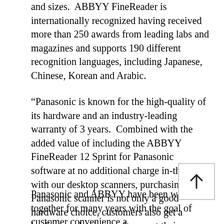and sizes. ABBYY FineReader is internationally recognized having received more than 250 awards from leading labs and magazines and supports 190 different recognition languages, including Japanese, Chinese, Korean and Arabic.
“Panasonic is known for the high-quality of its hardware and an industry-leading warranty of 3 years. Combined with the added value of including the ABBYY FineReader 12 Sprint for Panasonic software at no additional charge in-the-box with our desktop scanners, purchasing a Panasonic scanner is not only a good hardware choice, customers also get a leading productivity software at their fingertips,” says Fred Scherman, National Sales Manager, Panasonic Systems Solutions Company of North America.
Panasonic and ABBYY have been working together for many years with the goal of customer convenience at the core of their collaboration. “Now customers can enjoy faster and better ways to work with their Panasonic scanner using